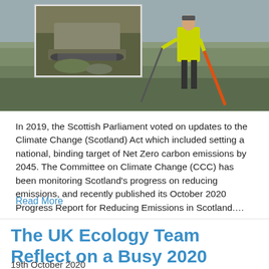[Figure (photo): Outdoor photo showing a person wearing a high-visibility vest standing in a moorland/wetland area holding a long orange pole. An inset photo in the upper-left shows machinery (possibly a small tracked vehicle) on a rocky/mossy surface.]
In 2019, the Scottish Parliament voted on updates to the Climate Change (Scotland) Act which included setting a national, binding target of Net Zero carbon emissions by 2045. The Committee on Climate Change (CCC) has been monitoring Scotland's progress on reducing emissions, and recently published its October 2020 Progress Report for Reducing Emissions in Scotland....
Read More
The UK Ecology Team Reflect on a Busy 2020 Survey Season
19th October 2020